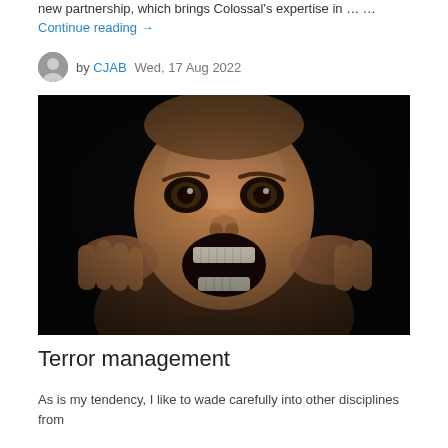new partnership, which brings Colossal's expertise in … … Continue reading →
by CJAB   Wed, 17 Aug 2022
[Figure (photo): A distorted, dramatic digital painting of a person with a horrified expression, wide open eyes and mouth, hands pulling at the sides of their face, against a dark background.]
Terror management
As is my tendency, I like to wade carefully into other disciplines from